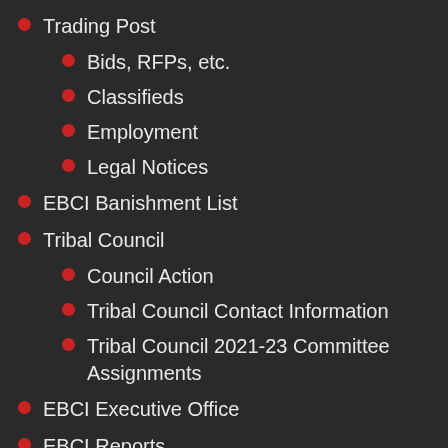Trading Post
Bids, RFPs, etc.
Classifieds
Employment
Legal Notices
EBCI Banishment List
Tribal Council
Council Action
Tribal Council Contact Information
Tribal Council 2021-23 Committee Assignments
EBCI Executive Office
EBCI Reports
Contact Us
EBCI artists/craftspeople
Photo Galleries